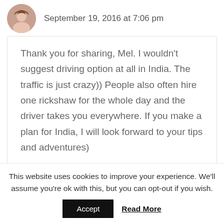September 19, 2016 at 7:06 pm
Thank you for sharing, Mel. I wouldn’t suggest driving option at all in India. The traffic is just crazy)) People also often hire one rickshaw for the whole day and the driver takes you everywhere. If you make a plan for India, I will look forward to your tips and adventures)
This website uses cookies to improve your experience. We’ll assume you’re ok with this, but you can opt-out if you wish.
Accept
Read More